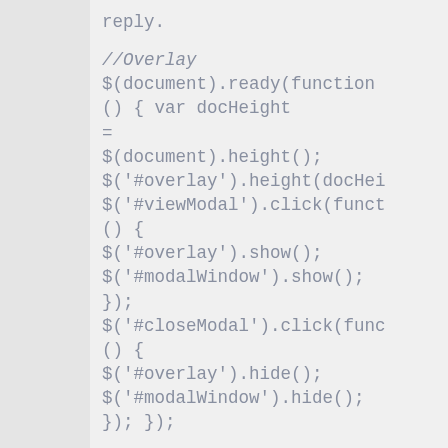reply.
//Overlay
$(document).ready(function
() { var docHeight
=
$(document).height();
$('#overlay').height(docHei
$('#viewModal').click(funct
() {
$('#overlay').show();
$('#modalWindow').show();
});
$('#closeModal').click(func
() {
$('#overlay').hide();
$('#modalWindow').hide();
}); });